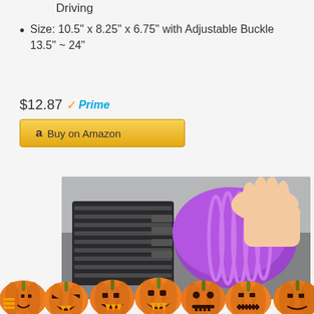Driving
Size: 10.5" x 8.25" x 6.75" with Adjustable Buckle 13.5" ~ 24"
$12.87 Prime
Buy on Amazon
[Figure (photo): Hand holding a purple ribbed cleaning gel being pressed into a car dashboard air vent, with Halloween jack-o-lantern pumpkin emojis along the bottom]
[Figure (illustration): Row of Halloween jack-o-lantern pumpkin emojis at the bottom of the page]